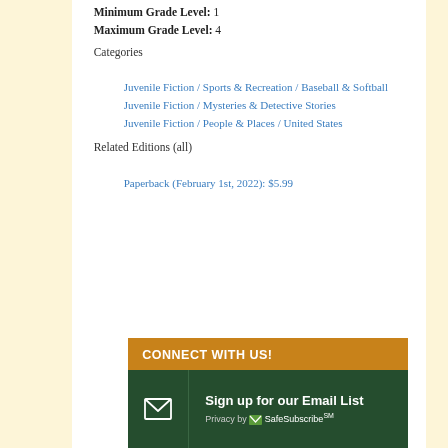Minimum Grade Level: 1
Maximum Grade Level: 4
Categories
Juvenile Fiction / Sports & Recreation / Baseball & Softball
Juvenile Fiction / Mysteries & Detective Stories
Juvenile Fiction / People & Places / United States
Related Editions (all)
Paperback (February 1st, 2022): $5.99
CONNECT WITH US!
Sign up for our Email List
Privacy by SafeSubscribeSM